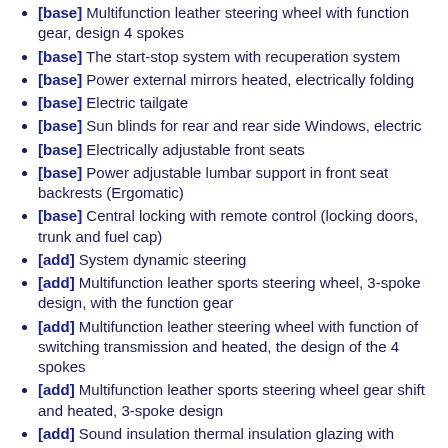[base] Multifunction leather steering wheel with function gear, design 4 spokes
[base] The start-stop system with recuperation system
[base] Power external mirrors heated, electrically folding
[base] Electric tailgate
[base] Sun blinds for rear and rear side Windows, electric
[base] Electrically adjustable front seats
[base] Power adjustable lumbar support in front seat backrests (Ergomatic)
[base] Central locking with remote control (locking doors, trunk and fuel cap)
[add] System dynamic steering
[add] Multifunction leather sports steering wheel, 3-spoke design, with the function gear
[add] Multifunction leather steering wheel with function of switching transmission and heated, the design of the 4 spokes
[add] Multifunction leather sports steering wheel gear shift and heated, 3-spoke design
[add] Sound insulation thermal insulation glazing with tinting the rear Windows and a heated windscreen
[add] Sound insulation thermal insulation glazing with tinting the rear Windows
[add] Sound insulation thermal insulation glazing with a heated windscreen
[add] Sound insulation thermal insulation glazing
[add] Sound-insulating glazing